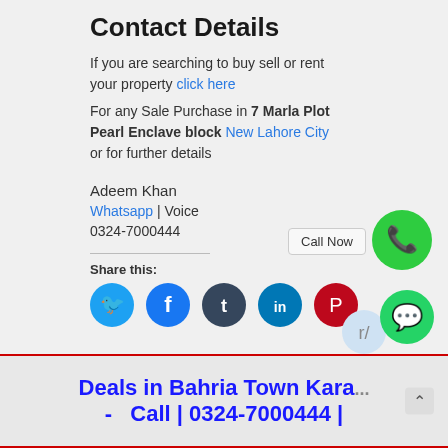Contact Details
If you are searching to buy sell or rent your property click here
For any Sale Purchase in 7 Marla Plot Pearl Enclave block New Lahore City or for further details
Adeem Khan
Whatsapp | Voice
0324-7000444
Share this:
Deals in Bahria Town Kara... - Call | 0324-7000444 |